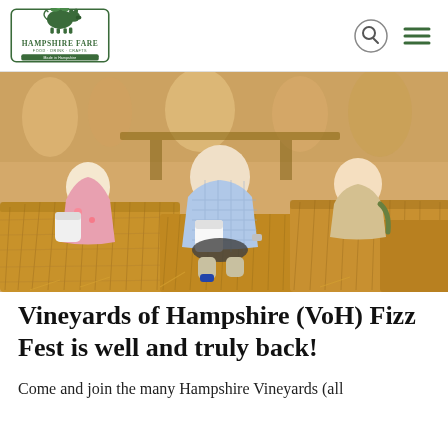Hampshire Fare Food Drink Crafts - Made in Hampshire
[Figure (photo): People sitting on hay bales outdoors in sunny weather at a countryside event]
Vineyards of Hampshire (VoH) Fizz Fest is well and truly back!
Come and join the many Hampshire Vineyards (all